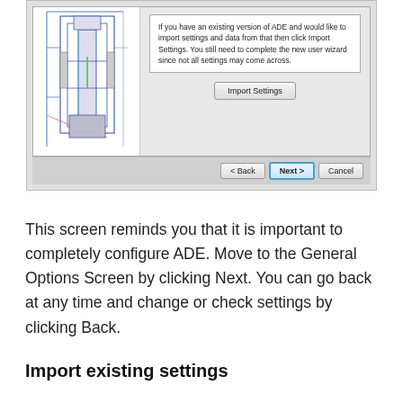[Figure (screenshot): A software wizard dialog showing a CAD drawing on the left panel and text on the right: 'If you have an existing version of ADE and would like to import settings and data from that then click Import Settings. You still need to complete the new user wizard since not all settings may come across.' with an 'Import Settings' button. The dialog footer has < Back, Next >, and Cancel buttons.]
This screen reminds you that it is important to completely configure ADE. Move to the General Options Screen by clicking Next. You can go back at any time and change or check settings by clicking Back.
Import existing settings